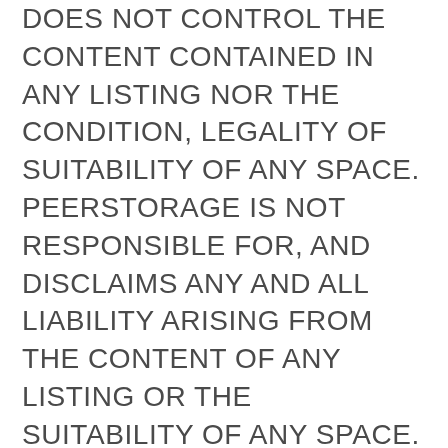DOES NOT CONTROL THE CONTENT CONTAINED IN ANY LISTING NOR THE CONDITION, LEGALITY OF SUITABILITY OF ANY SPACE. PEERSTORAGE IS NOT RESPONSIBLE FOR, AND DISCLAIMS ANY AND ALL LIABILITY ARISING FROM THE CONTENT OF ANY LISTING OR THE SUITABILITY OF ANY SPACE.
YOU ACKNOWLEDGE AND AGREE THAT, BY ACCESSING OR USING THE WEBSITE OR SERVICE OR BY POSTING ANY CONTENT FROM OR ON THE WEBSITE OR THROUGH THE SERVICE, OR BY REFERRING OTHERS, YOU ARE INDICATING THAT YOU HAVE READ, AND THAT YOU UNDERSTAND AND AGREE TO BE BOUND BY THESE TERMS, WHETHER OR NOT YOU HAVE REGISTERED WITH THE WEBSITE OR